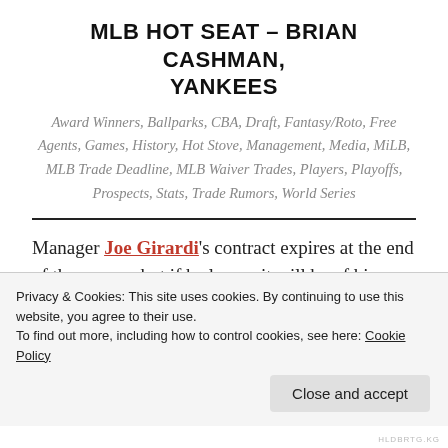MLB HOT SEAT – BRIAN CASHMAN, YANKEES
Award Winners, Ballparks, CBA, Draft, Fantasy/Roto, Free Agents, Games, History, Hot Stove, Management, Media, MiLB, MLB Trade Deadline, MLB Waiver Trades, Players, Playoffs, Prospects, Stats, Trade Rumors, World Series
Manager Joe Girardi's contract expires at the end of the season, but if he leaves it will be of his own choosing. There will be an abundance of managerial
Privacy & Cookies: This site uses cookies. By continuing to use this website, you agree to their use. To find out more, including how to control cookies, see here: Cookie Policy